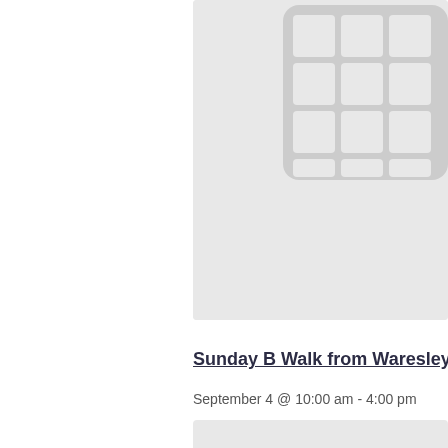[Figure (other): Calendar/grid icon placeholder image with light gray background and darker gray grid lines forming a 3x3 or 4x3 cell table layout, partially cropped on the right side]
Sunday B Walk from Waresley and Gra
September 4 @ 10:00 am - 4:00 pm
[Figure (other): Another gray placeholder image box partially visible at the bottom of the page]